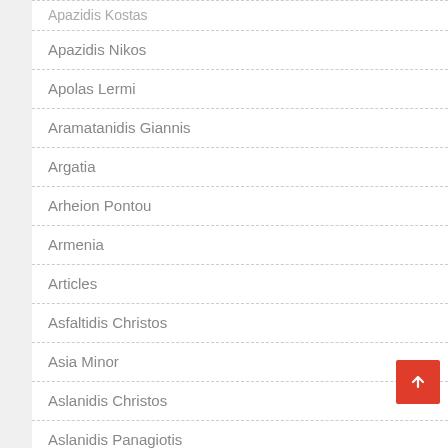Apazidis Kostas
Apazidis Nikos
Apolas Lermi
Aramatanidis Giannis
Argatia
Arheion Pontou
Armenia
Articles
Asfaltidis Christos
Asia Minor
Aslanidis Christos
Aslanidis Panagiotis
Aslanidis Theofilos